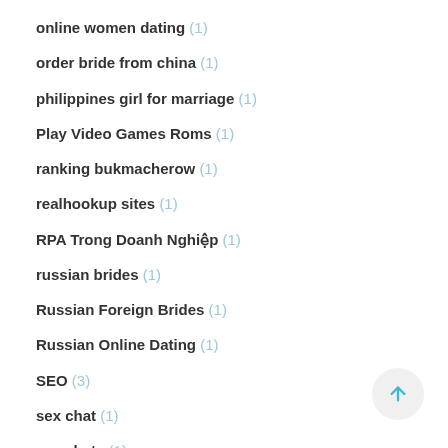online women dating (1)
order bride from china (1)
philippines girl for marriage (1)
Play Video Games Roms (1)
ranking bukmacherow (1)
realhookup sites (1)
RPA Trong Doanh Nghiệp (1)
russian brides (1)
Russian Foreign Brides (1)
Russian Online Dating (1)
SEO (3)
sex chat (1)
sex chats (1)